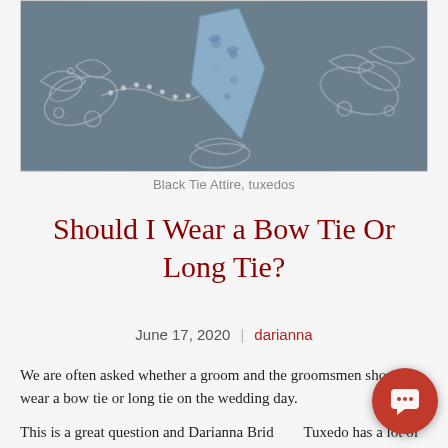[Figure (photo): Photo of a blue floral bow tie or long tie laid on a dark fabric with white lace/embroidery pattern]
Black Tie Attire, tuxedos
Should I Wear a Bow Tie Or Long Tie?
June 17, 2020  |  darianna
We are often asked whether a groom and the groomsmen should wear a bow tie or long tie on the wedding day.
This is a great question and Darianna Bridal & Tuxedo has a lot of experience and advice for answering it.